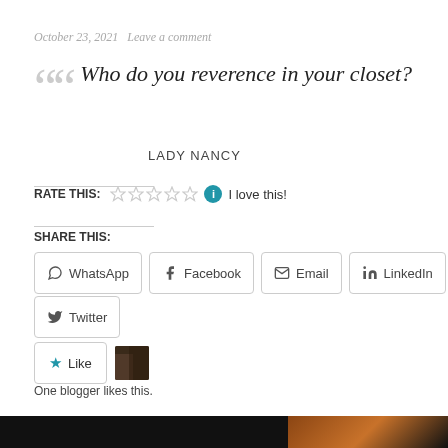October 23, 2021   Leave a comment
Who do you reverence in your closet?
LADY NANCY
RATE THIS:   I love this!
SHARE THIS:
WhatsApp
Facebook
Email
LinkedIn
Twitter
Like
One blogger likes this.